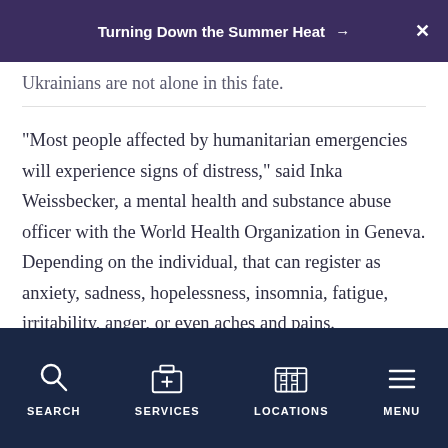Turning Down the Summer Heat →
Ukrainians are not alone in this fate.
"Most people affected by humanitarian emergencies will experience signs of distress," said Inka Weissbecker, a mental health and substance abuse officer with the World Health Organization in Geneva. Depending on the individual, that can register as anxiety, sadness, hopelessness, insomnia, fatigue, irritability, anger, or even aches and pains.
Support from family and friends can help limit the risk for developing far worse psychiatric trouble, Weissbecker added. Serious mental illness is not an
SEARCH   SERVICES   LOCATIONS   MENU